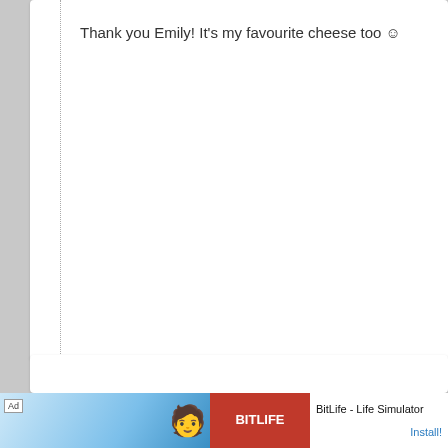Thank you Emily! It's my favourite cheese too ☺
[Figure (screenshot): Mobile app advertisement for BitLife - Life Simulator with character illustration on blue background and red BitLife logo panel]